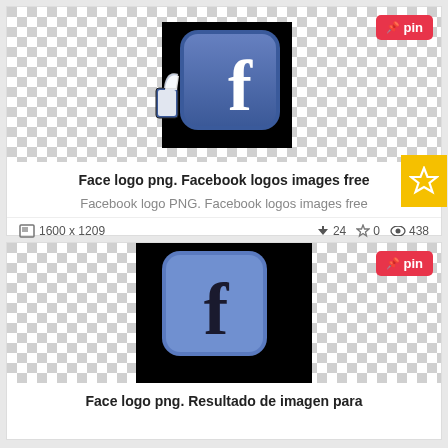[Figure (logo): Facebook logo with thumbs-up like icon on a checkerboard transparency background inside a black bordered box]
Face logo png. Facebook logos images free
Facebook logo PNG. Facebook logos images free
1600 x 1209  24  0  438
[Figure (logo): Facebook logo 'f' icon on dark blue rounded square with black background, on checkerboard transparency background]
Face logo png. Resultado de imagen para